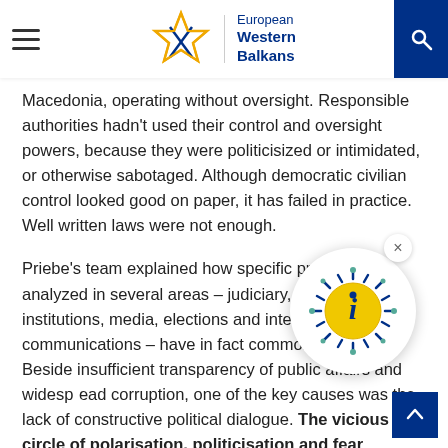European Western Balkans
Macedonia, operating without oversight. Responsible authorities hadn't used their control and oversight powers, because they were politicisized or intimidated, or otherwise sabotaged. Although democratic civilian control looked good on paper, it has failed in practice. Well written laws were not enough.
Priebe's team explained how specific problems it analyzed in several areas – judiciary, independent institutions, media, elections and interception of communications – have in fact common sources. Beside insufficient transparency of public affairs and widespread corruption, one of the key causes was the lack of constructive political dialogue. The vicious circle of polarisation, politicisation and fear rendered democratic mechanisms paralyzed and led to state capture.
[Figure (other): Virus/info icon popup overlay with close button]